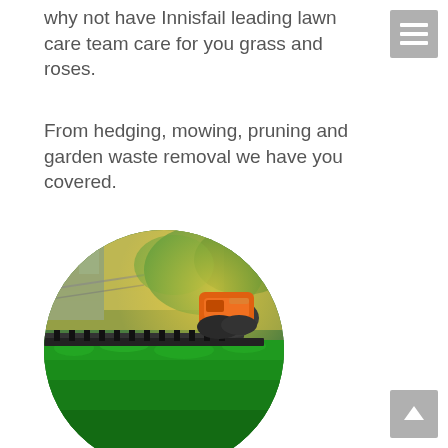why not have Innisfail leading lawn care team care for you grass and roses.
From hedging, mowing, pruning and garden waste removal we have you covered.
[Figure (photo): Circular cropped photo of a person using an orange hedge trimmer to cut a bright green hedge, with warm sunlight in the background.]